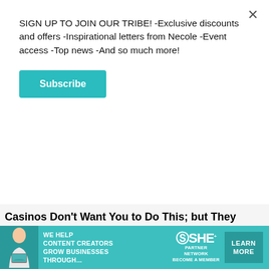SIGN UP TO JOIN OUR TRIBE! -Exclusive discounts and offers -Inspirational letters from Necole -Event access -Top news -And so much more!
Subscribe
×
Casinos Don't Want You to Do This; but They Can't Stop You
BuzzDaily Winners
[Figure (photo): Close-up photo of an elderly person's face showing skin texture near the ear and cheek area, with pinkish-peach tones]
[Figure (infographic): SHE Media Partner Network advertisement banner in teal/turquoise color. Text reads: WE HELP CONTENT CREATORS GROW BUSINESSES THROUGH... with SHE logo and PARTNER NETWORK BECOME A MEMBER, and a LEARN MORE button. Includes an image of a woman with a laptop.]